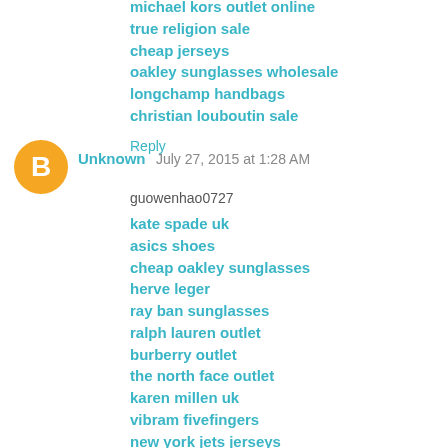michael kors outlet online
true religion sale
cheap jerseys
oakley sunglasses wholesale
longchamp handbags
christian louboutin sale
Reply
Unknown   July 27, 2015 at 1:28 AM
guowenhao0727
kate spade uk
asics shoes
cheap oakley sunglasses
herve leger
ray ban sunglasses
ralph lauren outlet
burberry outlet
the north face outlet
karen millen uk
vibram fivefingers
new york jets jerseys